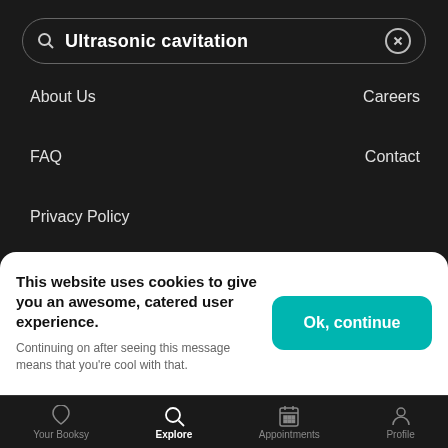[Figure (screenshot): Search bar with text 'Ultrasonic cavitation' and close button on dark background]
About Us
Careers
FAQ
Contact
Privacy Policy
[Figure (logo): AppStore download button]
[Figure (logo): Google Play download button]
[Figure (logo): ebooksy logo with social media icons]
This website uses cookies to give you an awesome, catered user experience. Continuing on after seeing this message means that you're cool with that.
Ok, continue
Your Booksy   Explore   Appointments   Profile